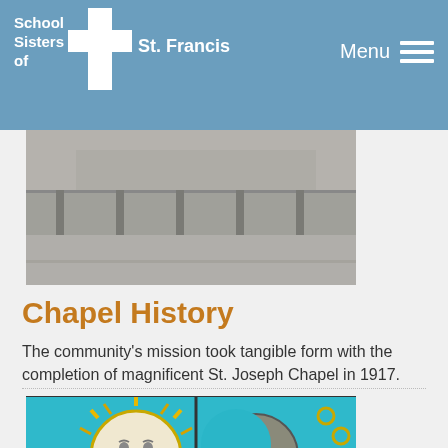School Sisters of St. Francis — Menu
[Figure (photo): Black and white photograph of a street scene with a fence and bare trees, appears to be a building exterior.]
Chapel History
The community’s mission took tangible form with the completion of magnificent St. Joseph Chapel in 1917.
[Figure (photo): Stained glass window depicting a sun with a human face and a crescent moon with a face, set against a turquoise background.]